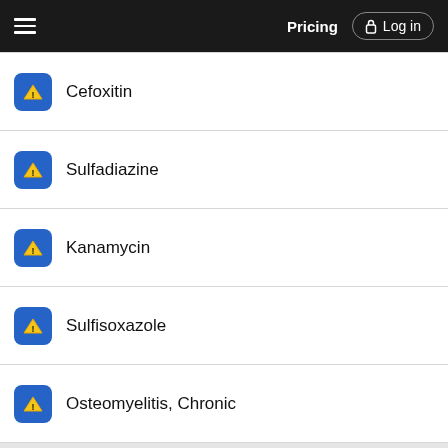Pricing  Log in
Cefoxitin
Sulfadiazine
Kanamycin
Sulfisoxazole
Osteomyelitis, Chronic
Want to read the entire topic?
Access up-to-date medical information for less than $1 a week
Purchase a subscription
I'm already a subscriber
Browse sample topics